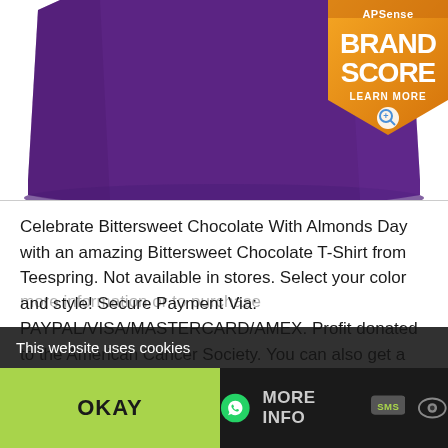[Figure (photo): Purple hoodie/t-shirt product image on white background, showing bottom portion of a solid purple garment]
[Figure (logo): APSense Brand Score badge - orange shield/ribbon shape with text 'APSense BRAND SCORE LEARN MORE' and a magnifier icon]
Celebrate Bittersweet Chocolate With Almonds Day with an amazing Bittersweet Chocolate T-Shirt from Teespring. Not available in stores. Select your color and style! Secure Payment Via: PAYPAL/VISA/MASTERCARD/AMEX. Profit donated to the American Cancer Society. You can also get a hoodie with Bittersweet Chocolate printed on it. Click the [more information or to purchase]
This website uses cookies
OKAY
MORE INFO